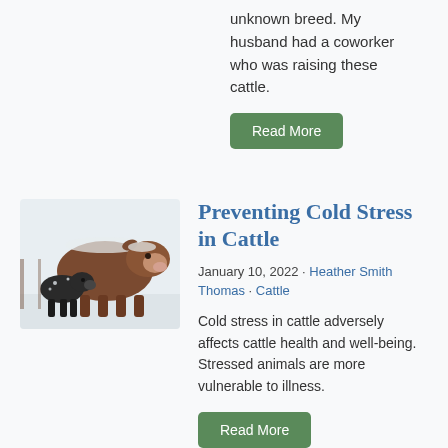unknown breed. My husband had a coworker who was raising these cattle.
Read More
[Figure (photo): Two cattle standing in a snowy field — a large brown/reddish cow with snow on its back and face, and a small dark calf beside it. Wooden fence visible in background.]
Preventing Cold Stress in Cattle
January 10, 2022 · Heather Smith Thomas · Cattle
Cold stress in cattle adversely affects cattle health and well-being. Stressed animals are more vulnerable to illness.
Read More